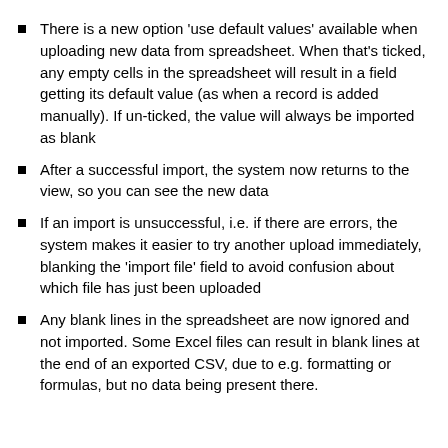There is a new option ‘use default values’ available when uploading new data from spreadsheet. When that's ticked, any empty cells in the spreadsheet will result in a field getting its default value (as when a record is added manually). If un-ticked, the value will always be imported as blank
After a successful import, the system now returns to the view, so you can see the new data
If an import is unsuccessful, i.e. if there are errors, the system makes it easier to try another upload immediately, blanking the ‘import file’ field to avoid confusion about which file has just been uploaded
Any blank lines in the spreadsheet are now ignored and not imported. Some Excel files can result in blank lines at the end of an exported CSV, due to e.g. formatting or formulas, but no data being present there.